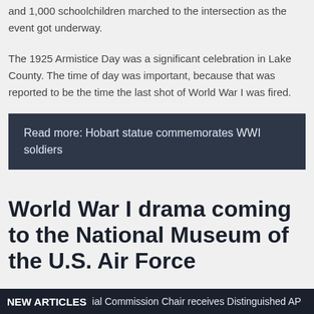and 1,000 schoolchildren marched to the intersection as the event got underway.
The 1925 Armistice Day was a significant celebration in Lake County. The time of day was important, because that was reported to be the time the last shot of World War I was fired.
Read more: Hobart statue commemorates WWI soldiers
World War I drama coming to the National Museum of the U.S. Air Force
NEW ARTICLES  ial Commission Chair receives Distinguished AP